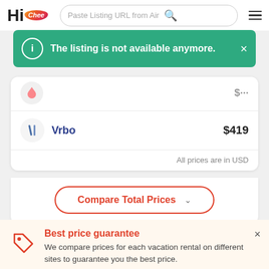Hi Chee — Paste Listing URL from Airbnb
The listing is not available anymore.
| Site | Price |
| --- | --- |
| Vrbo | $419 |
All prices are in USD
Compare Total Prices
Best price guarantee
We compare prices for each vacation rental on different sites to guarantee you the best price.